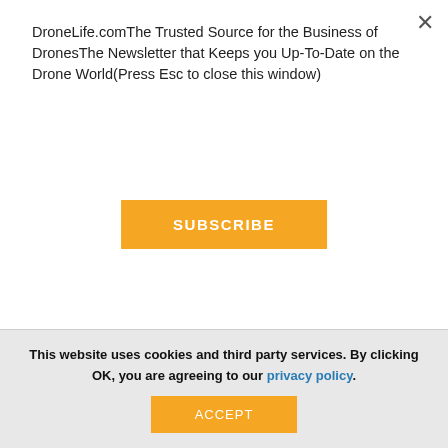DroneLife.comThe Trusted Source for the Business of DronesThe Newsletter that Keeps you Up-To-Date on the Drone World(Press Esc to close this window)
[Figure (other): Orange SUBSCRIBE button]
[Figure (advertisement): SimActive High-End Photogrammetry Software ad — MAP AT FASTER SPEEDS AND HIGHER ACCURACIES]
This website uses cookies and third party services. By clicking OK, you are agreeing to our privacy policy.
[Figure (other): Orange ACCEPT button]